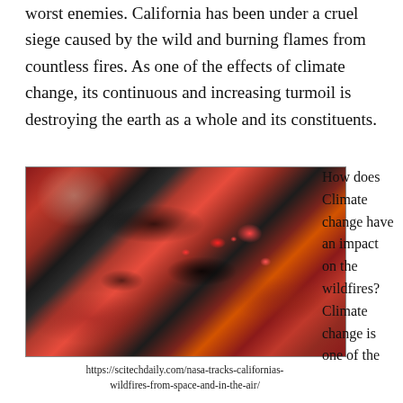worst enemies. California has been under a cruel siege caused by the wild and burning flames from countless fires. As one of the effects of climate change, its continuous and increasing turmoil is destroying the earth as a whole and its constituents.
[Figure (photo): Satellite or aerial infrared image of California wildfires showing red vegetation areas and dark burn scars across mountainous terrain]
https://scitechdaily.com/nasa-tracks-californias-wildfires-from-space-and-in-the-air/
How does Climate change have an impact on the wildfires? Climate change is one of the